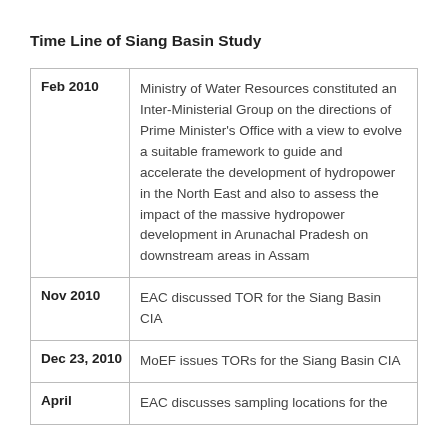Time Line of Siang Basin Study
| Date | Event |
| --- | --- |
| Feb 2010 | Ministry of Water Resources constituted an Inter-Ministerial Group on the directions of Prime Minister's Office with a view to evolve a suitable framework to guide and accelerate the development of hydropower in the North East and also to assess the impact of the massive hydropower development in Arunachal Pradesh on downstream areas in Assam |
| Nov 2010 | EAC discussed TOR for the Siang Basin CIA |
| Dec 23, 2010 | MoEF issues TORs for the Siang Basin CIA |
| April | EAC discusses sampling locations for the |